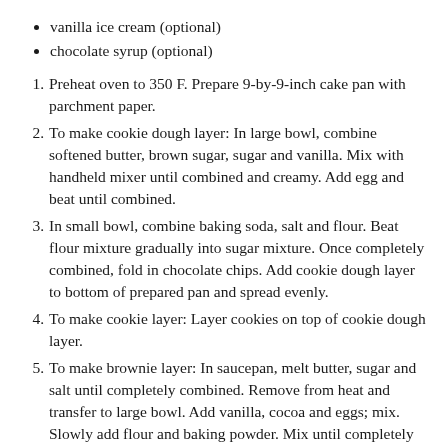vanilla ice cream (optional)
chocolate syrup (optional)
Preheat oven to 350 F. Prepare 9-by-9-inch cake pan with parchment paper.
To make cookie dough layer: In large bowl, combine softened butter, brown sugar, sugar and vanilla. Mix with handheld mixer until combined and creamy. Add egg and beat until combined.
In small bowl, combine baking soda, salt and flour. Beat flour mixture gradually into sugar mixture. Once completely combined, fold in chocolate chips. Add cookie dough layer to bottom of prepared pan and spread evenly.
To make cookie layer: Layer cookies on top of cookie dough layer.
To make brownie layer: In saucepan, melt butter, sugar and salt until completely combined. Remove from heat and transfer to large bowl. Add vanilla, cocoa and eggs; mix. Slowly add flour and baking powder. Mix until completely combined.
Pour brownie mixture over cookie layer. Spread evenly.
Top with crushed cookies and chocolate chips.
Bake 50 minutes. Let cool completely before removing from